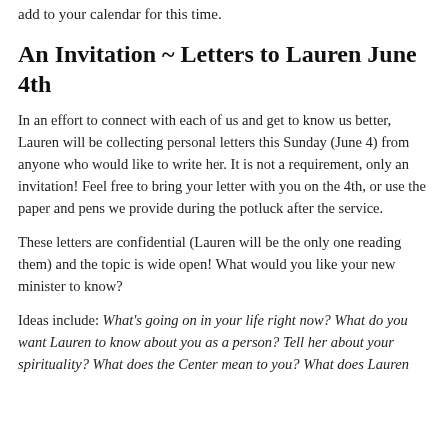add to your calendar for this time.
An Invitation ~ Letters to Lauren June 4th
In an effort to connect with each of us and get to know us better, Lauren will be collecting personal letters this Sunday (June 4) from anyone who would like to write her. It is not a requirement, only an invitation! Feel free to bring your letter with you on the 4th, or use the paper and pens we provide during the potluck after the service.
These letters are confidential (Lauren will be the only one reading them) and the topic is wide open! What would you like your new minister to know?
Ideas include: What's going on in your life right now? What do you want Lauren to know about you as a person? Tell her about your spirituality? What does the Center mean to you? What does Lauren